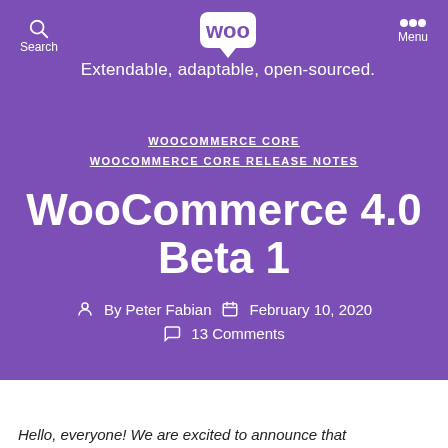Extendable, adaptable, open-sourced.
WOOCOMMERCE CORE
WOOCOMMERCE CORE RELEASE NOTES
WooCommerce 4.0 Beta 1
By Peter Fabian  February 10, 2020
13 Comments
Hello, everyone! We are excited to announce that